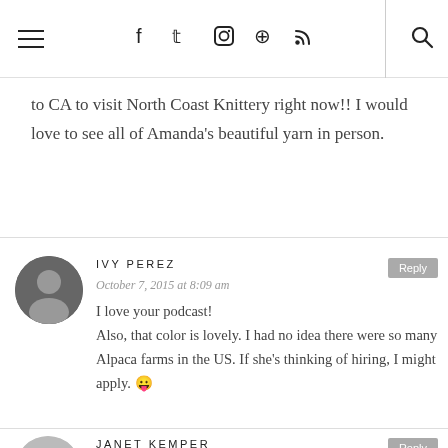Navigation bar with hamburger menu, social icons (facebook, twitter, instagram, pinterest, rss), and search icon
to CA to visit North Coast Knittery right now!! I would love to see all of Amanda's beautiful yarn in person.
IVY PEREZ
October 7, 2015 at 8:09 am
I love your podcast!
Also, that color is lovely. I had no idea there were so many Alpaca farms in the US. If she's thinking of hiring, I might apply. 😛
JANET KEMPER
October 7, 2015 at 8:14 am